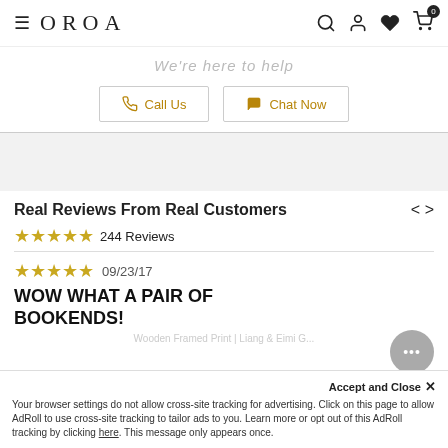OROA — navigation bar with hamburger, logo, search, account, heart, cart (0)
We're here to help
Call Us | Chat Now
Real Reviews From Real Customers
★★★★★ 244 Reviews
★★★★★ 09/23/17
WOW WHAT A PAIR OF BOOKENDS!
Wooden Framed Print | Liang & Eimi G...
Your browser settings do not allow cross-site tracking for advertising. Click on this page to allow AdRoll to use cross-site tracking to tailor ads to you. Learn more or opt out of this AdRoll tracking by clicking here. This message only appears once.